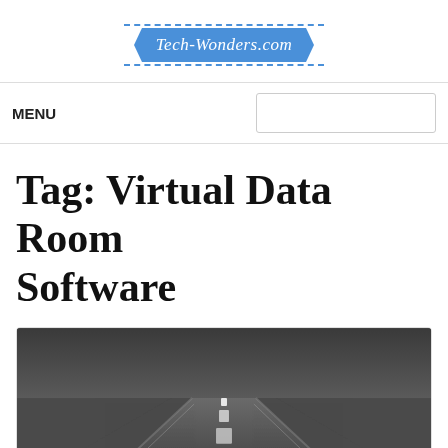Tech-Wonders.com
MENU
Tag: Virtual Data Room Software
[Figure (photo): A black and white photo of a road with dashed white center lines, viewed from a low angle perspective, converging toward the horizon.]